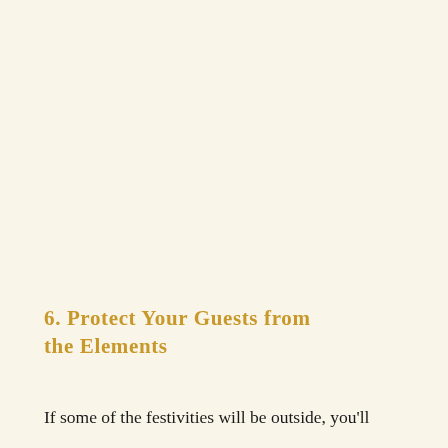6. Protect Your Guests from the Elements
If some of the festivities will be outside, you'll